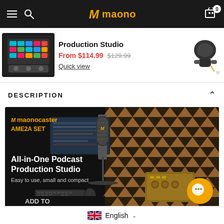maono (navigation header with hamburger menu, search, logo, and cart)
Production Studio
From $114.99  $129.99
Quick view
DESCRIPTION
[Figure (photo): Maonocaster AME2A SET - All-in-One Podcast Production Studio product banner. Dark studio background with acoustic foam panels, condenser microphone on stand, audio mixer/interface. Text: 'maonocaster AME2A SET', 'All-in-One Podcast Production Studio', 'Easy to use, small and compact']
English